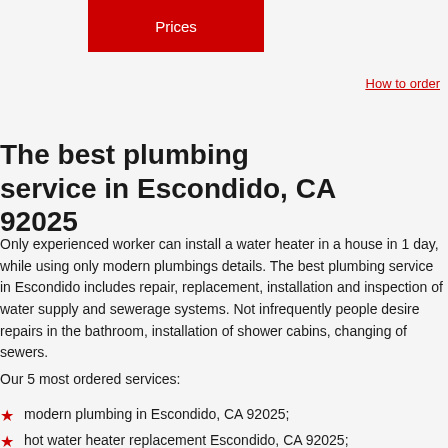[Figure (other): Red button labeled Prices]
How to order
The best plumbing service in Escondido, CA 92025
Only experienced worker can install a water heater in a house in 1 day, while using only modern plumbings details. The best plumbing service in Escondido includes repair, replacement, installation and inspection of water supply and sewerage systems. Not infrequently people desire repairs in the bathroom, installation of shower cabins, changing of sewers.
Our 5 most ordered services:
modern plumbing in Escondido, CA 92025;
hot water heater replacement Escondido, CA 92025;